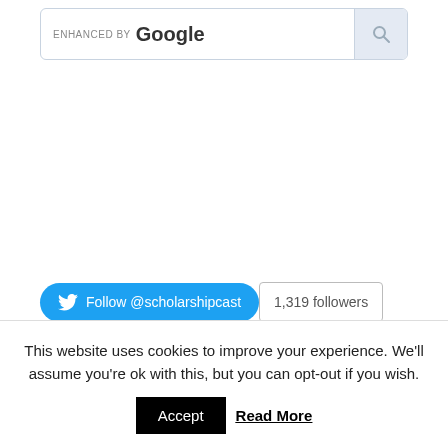[Figure (screenshot): Enhanced by Google search bar with search button on the right]
[Figure (screenshot): Twitter Follow @scholarshipcast button with 1,319 followers badge]
This website uses cookies to improve your experience. We'll assume you're ok with this, but you can opt-out if you wish.
Accept  Read More